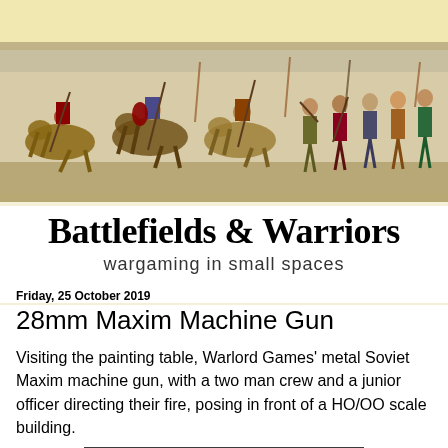[Figure (illustration): Bayeux Tapestry style banner image showing medieval warriors on horseback and on foot, with swords, spears, and shields, in muted historical colors.]
Battlefields & Warriors
wargaming in small spaces
Friday, 25 October 2019
28mm Maxim Machine Gun
Visiting the painting table, Warlord Games' metal Soviet Maxim machine gun, with a two man crew and a junior officer directing their fire, posing in front of a HO/OO scale building.
[Figure (photo): Partial photo of painted 28mm miniatures of a Soviet Maxim machine gun crew in front of a HO/OO scale building, cropped at page bottom.]